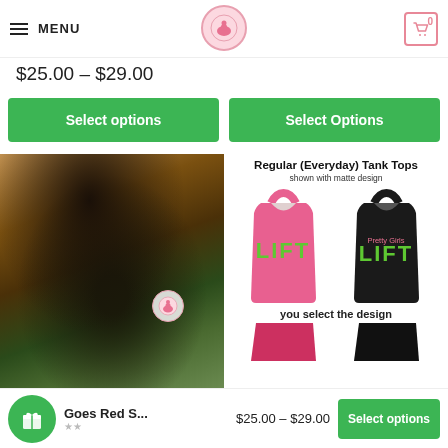MENU | [Logo] | Cart (0)
$25.00 – $29.00
Select options | Select Options
[Figure (photo): Woman wearing a dark t-shirt with green tree/Philly design, curly hair, outdoor setting]
[Figure (photo): Regular (Everyday) Tank Tops shown with matte design - pink tank top with green LIFT text and black tank top with Pretty Girls LIFT text. Bottom shows two more tank tops (pink/black) with 'you select the design' caption.]
Regular (Everyday) Tank Tops shown with matte design
you select the design
Goes Red S... $25.00 – $29.00 Select options